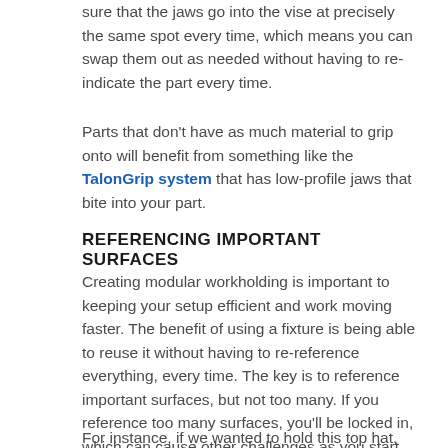sure that the jaws go into the vise at precisely the same spot every time, which means you can swap them out as needed without having to re-indicate the part every time.
Parts that don't have as much material to grip onto will benefit from something like the TalonGrip system that has low-profile jaws that bite into your part.
REFERENCING IMPORTANT SURFACES
Creating modular workholding is important to keeping your setup efficient and work moving faster. The benefit of using a fixture is being able to reuse it without having to re-reference everything, every time. The key is to reference important surfaces, but not too many. If you reference too many surfaces, you'll be locked in, which can cause other challenges as you start cutting parts. Stock varies, finish varies, and even things like temperature can change the conformity of your part and workholding. That's why indicating a few choice surfaces will keep you efficient without adding any headaches.
For instance, if we wanted to hold this top hat,